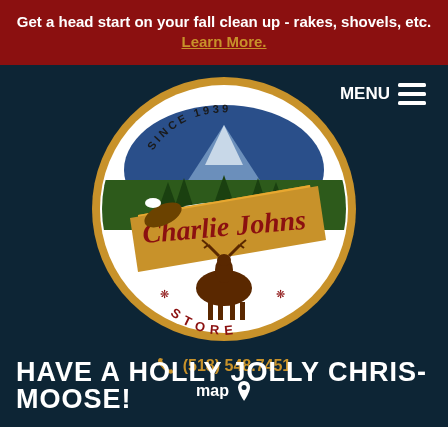Get a head start on your fall clean up - rakes, shovels, etc. Learn More.
[Figure (logo): Charlie Johns Store circular logo featuring an eagle, moose, trees, mountains, and text 'Since 1939 Charlie Johns Store']
MENU
(518) 548.7451
map
HAVE A HOLLY JOLLY CHRIS-MOOSE!